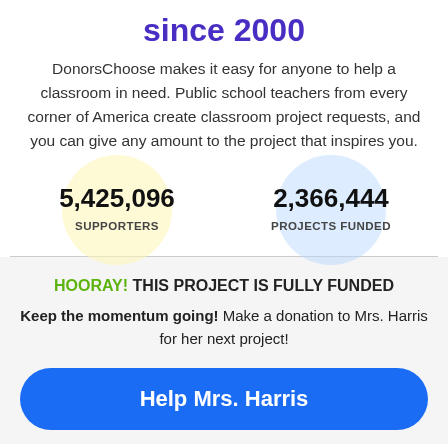since 2000
DonorsChoose makes it easy for anyone to help a classroom in need. Public school teachers from every corner of America create classroom project requests, and you can give any amount to the project that inspires you.
5,425,096 SUPPORTERS
2,366,444 PROJECTS FUNDED
HOORAY! THIS PROJECT IS FULLY FUNDED
Keep the momentum going! Make a donation to Mrs. Harris for her next project!
Help Mrs. Harris